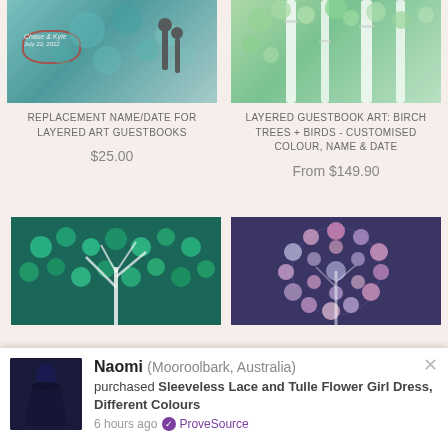[Figure (photo): Layered art guestbook with silhouette couple and teal/green hearts on grey background]
[Figure (photo): Layered guestbook with white birch trees and green leaves pattern]
REPLACEMENT NAME/DATE FOR LAYERED ART GUESTBOOKS
$25.00
LAYERED GUESTBOOK ART: BIRCH TREES + BIRDS - CUSTOMISED COLOUR, NAME & DATE
From $149.90
[Figure (photo): Green hearts on teal/dark background tree guestbook]
[Figure (photo): Purple/pink hearts on dark background circular guestbook]
[Figure (photo): Dark navy dress product thumbnail]
Naomi (Mooroolbark, Australia) purchased Sleeveless Lace and Tulle Flower Girl Dress, Different Colours 6 hours ago ProveSource